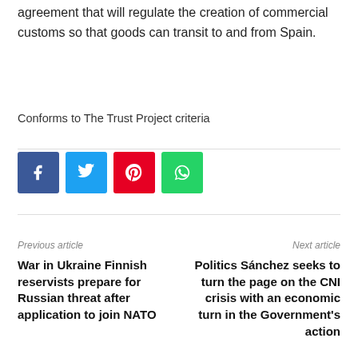From now on, it only remains to know the terms of the agreement that will regulate the creation of commercial customs so that goods can transit to and from Spain.
Conforms to The Trust Project criteria
[Figure (other): Social media share buttons: Facebook (blue), Twitter (light blue), Pinterest (red), WhatsApp (green)]
Previous article
War in Ukraine Finnish reservists prepare for Russian threat after application to join NATO
Next article
Politics Sánchez seeks to turn the page on the CNI crisis with an economic turn in the Government's action